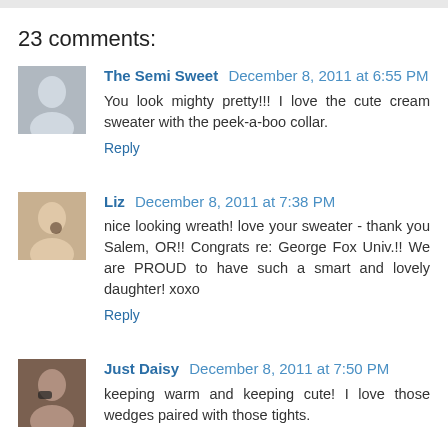23 comments:
The Semi Sweet December 8, 2011 at 6:55 PM
You look mighty pretty!!! I love the cute cream sweater with the peek-a-boo collar.
Reply
Liz December 8, 2011 at 7:38 PM
nice looking wreath! love your sweater - thank you Salem, OR!! Congrats re: George Fox Univ.!! We are PROUD to have such a smart and lovely daughter! xoxo
Reply
Just Daisy December 8, 2011 at 7:50 PM
keeping warm and keeping cute! I love those wedges paired with those tights.